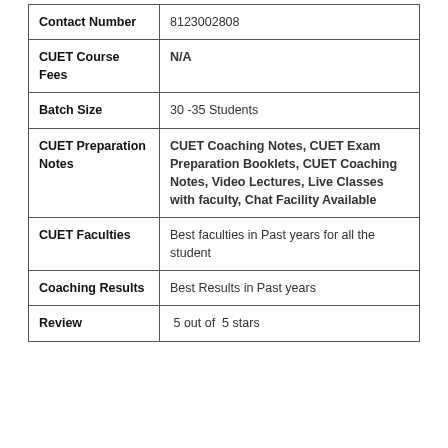| Field | Value |
| --- | --- |
| Contact Number | 8123002808 |
| CUET Course Fees | N/A |
| Batch Size | 30 -35 Students |
| CUET Preparation Notes | CUET Coaching Notes, CUET Exam Preparation Booklets, CUET Coaching Notes, Video Lectures, Live Classes with faculty, Chat Facility Available |
| CUET Faculties | Best faculties in Past years for all the student |
| Coaching Results | Best Results in Past years |
| Review | 5 out of  5 stars |